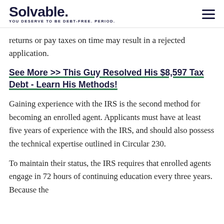Solvable. YOU DESERVE TO BE DEBT-FREE. PERIOD.
returns or pay taxes on time may result in a rejected application.
See More >> This Guy Resolved His $8,597 Tax Debt - Learn His Methods!
Gaining experience with the IRS is the second method for becoming an enrolled agent. Applicants must have at least five years of experience with the IRS, and should also possess the technical expertise outlined in Circular 230.
To maintain their status, the IRS requires that enrolled agents engage in 72 hours of continuing education every three years. Because the